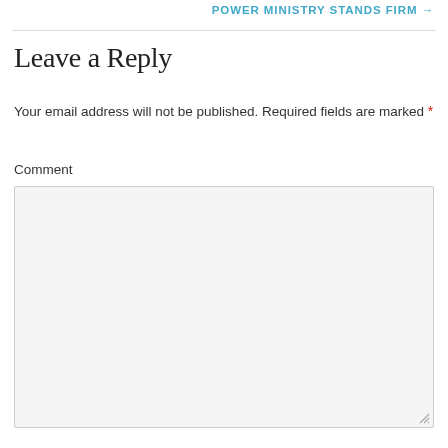POWER MINISTRY STANDS FIRM →
Leave a Reply
Your email address will not be published. Required fields are marked *
Comment